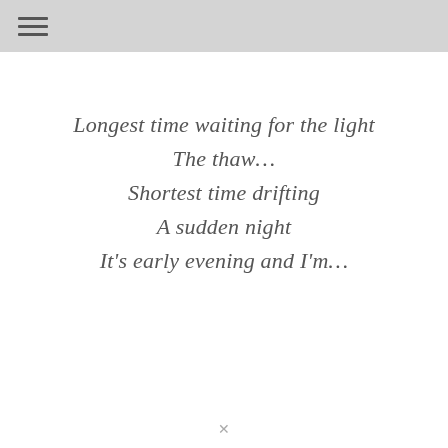Longest time waiting for the light
The thaw…
Shortest time drifting
A sudden night
It's early evening and I'm…